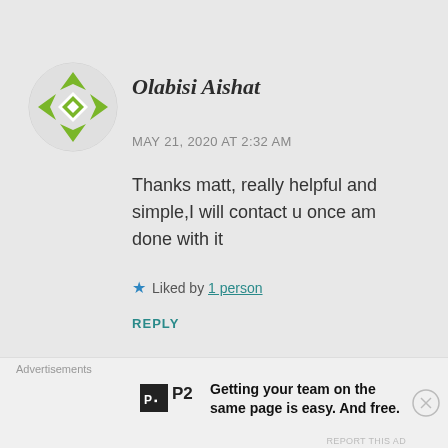[Figure (logo): Green and white decorative avatar icon with arrow/diamond pattern in a circle]
Olabisi Aishat
MAY 21, 2020 AT 2:32 AM
Thanks matt, really helpful and simple,I will contact u once am done with it
★ Liked by 1 person
REPLY
[Figure (photo): Partial avatar of the next commenter (dark hair visible)]
Advertisements
[Figure (logo): P2 logo - black square with P2 text]
Getting your team on the same page is easy. And free.